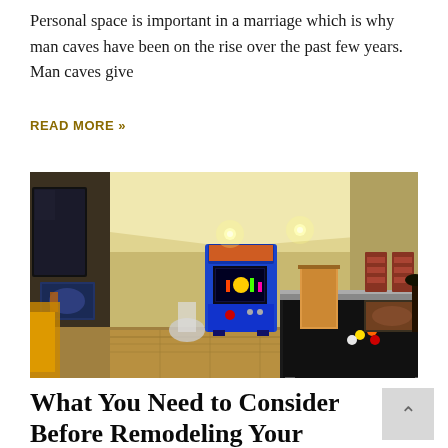Personal space is important in a marriage which is why man caves have been on the rise over the past few years. Man caves give
READ MORE »
[Figure (photo): Interior photo of a man cave / basement recreation room featuring a pool table with billiard balls, a classic arcade game machine (Pac-Man style), wall-mounted TV, artwork, warm yellow-toned lighting with recessed ceiling lights, and various furniture in the background.]
What You Need to Consider Before Remodeling Your